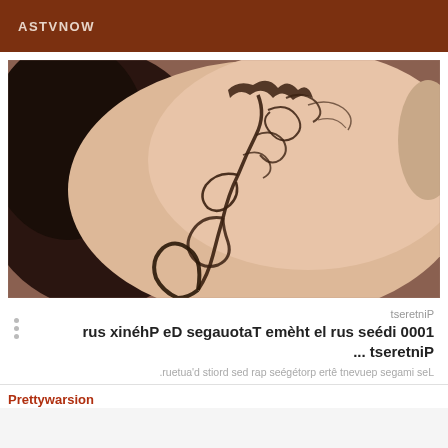ASTVNOW
[Figure (photo): Close-up photo of a person's side/neck area showing a decorative black ink tattoo with swirling floral/phoenix motifs]
Pinterest
1000 idées sur le thème Tatouages De Phénix sur Pinterest ...
Les images peuvent être protégées par des droits d'auteur.
Prettywarsion